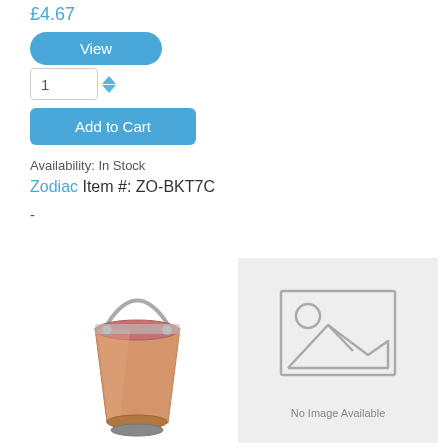£4.67
View
1
Add to Cart
Availability: In Stock
Zodiac Item #: ZO-BKT7C
-
[Figure (photo): A copper and silver metal bucket with a metal handle]
[Figure (other): No Image Available placeholder with image icon]